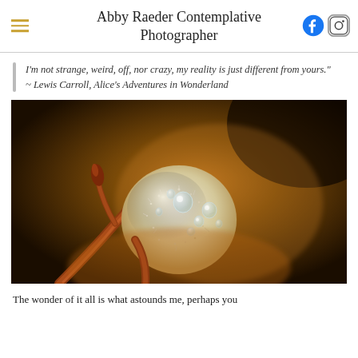Abby Raeder Contemplative Photographer
I'm not strange, weird, off, nor crazy, my reality is just different from yours."
~ Lewis Carroll, Alice's Adventures in Wonderland
[Figure (photo): Macro close-up photograph of a fuzzy willow catkin bud with water droplets, on a branch, warm amber/golden background]
The wonder of it all is what astounds me, perhaps you